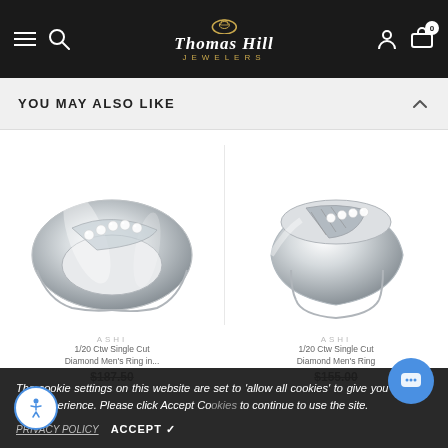Thomas Hill Jewelers – navigation header
YOU MAY ALSO LIKE
[Figure (photo): Silver diamond men's ring with channel-set diamonds in diagonal band, left product]
ASHI
1/20 Ctw Single Cut Diamond Men's Ring in...
$187.50
[Figure (photo): Silver diamond men's signet-style ring with diagonal diamond channel, right product]
ASHI
1/20 Ctw Single Cut Diamond Men's Ring
$155.00
The cookie settings on this website are set to 'allow all cookies' to give you the very best experience. Please click Accept Cookies to continue to use the site.
PRIVACY POLICY   ACCEPT ✓